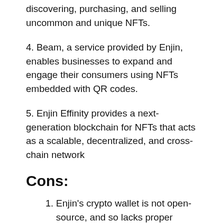discovering, purchasing, and selling uncommon and unique NFTs.
4. Beam, a service provided by Enjin, enables businesses to expand and engage their consumers using NFTs embedded with QR codes.
5. Enjin Effinity provides a next-generation blockchain for NFTs that acts as a scalable, decentralized, and cross-chain network
Cons:
1. Enjin's crypto wallet is not open-source, and so lacks proper validation.
2. ENJ lacks any physical backing for its